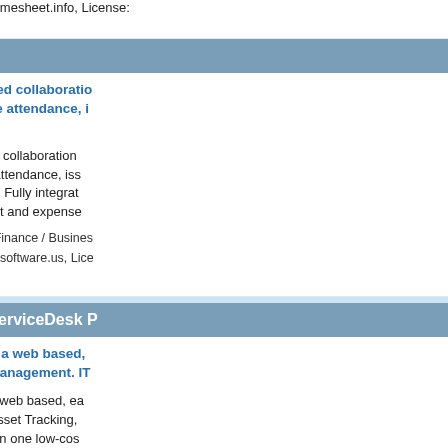Publisher: Webbasedtimesheet.info, License: ...
Platform: Windows
Time tracker
TimeLive - Web-based collaboration timesheet, employee attendance, i... (ASP) version.
TimeLive - Web based collaboration timesheet, employee attendance, iss... version. - Web based - Fully integrat... Configurable timesheet and expense...
Category: Business & Finance / Busines...
Publisher: Timetrackingsoftware.us, Lice...
Platform: Windows
ManageEngine ServiceDesk P...
ServiceDesk Plus is a web based, ... integrated project management. IT...
ServiceDesk Plus is a web based, ea... integrates Ticketing, Asset Tracking,... and Knowledge Base in one low-cos... ability to improve productivity of your...
Category: Business & Finance / Invento...
Publisher: ZOHO Corp., License: Freew...
Platform: Linux, Windows